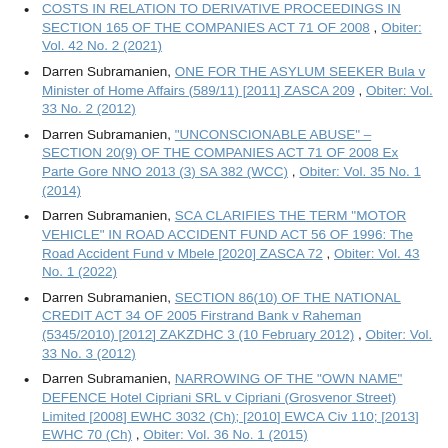COSTS IN RELATION TO DERIVATIVE PROCEEDINGS IN SECTION 165 OF THE COMPANIES ACT 71 OF 2008, Obiter: Vol. 42 No. 2 (2021)
Darren Subramanien, ONE FOR THE ASYLUM SEEKER Bula v Minister of Home Affairs (589/11) [2011] ZASCA 209, Obiter: Vol. 33 No. 2 (2012)
Darren Subramanien, "UNCONSCIONABLE ABUSE" – SECTION 20(9) OF THE COMPANIES ACT 71 OF 2008 Ex Parte Gore NNO 2013 (3) SA 382 (WCC), Obiter: Vol. 35 No. 1 (2014)
Darren Subramanien, SCA CLARIFIES THE TERM "MOTOR VEHICLE" IN ROAD ACCIDENT FUND ACT 56 OF 1996: The Road Accident Fund v Mbele [2020] ZASCA 72, Obiter: Vol. 43 No. 1 (2022)
Darren Subramanien, SECTION 86(10) OF THE NATIONAL CREDIT ACT 34 OF 2005 Firstrand Bank v Raheman (5345/2010) [2012] ZAKZDHC 3 (10 February 2012), Obiter: Vol. 33 No. 3 (2012)
Darren Subramanien, NARROWING OF THE "OWN NAME" DEFENCE Hotel Cipriani SRL v Cipriani (Grosvenor Street) Limited [2008] EWHC 3032 (Ch); [2010] EWCA Civ 110; [2013] EWHC 70 (Ch), Obiter: Vol. 36 No. 1 (2015)